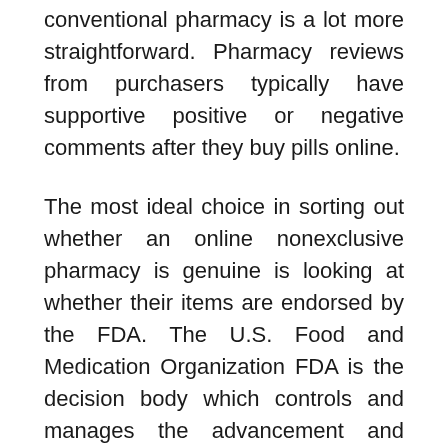conventional pharmacy is a lot more straightforward. Pharmacy reviews from purchasers typically have supportive positive or negative comments after they buy pills online.
The most ideal choice in sorting out whether an online nonexclusive pharmacy is genuine is looking at whether their items are endorsed by the FDA. The U.S. Food and Medication Organization FDA is the decision body which controls and manages the advancement and dissemination of both brand-name and nonexclusive medications. Buyers are consoled that nonexclusive medications go through the very same inflexible interaction the brand-name drugs go through. Prior to these conventional